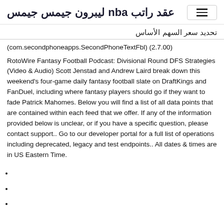عقد راتب nba ليبرون جيمس جيمس
تحديد سعر السهم الأساس
(com.secondphoneapps.SecondPhoneTextFbl) (2.7.00)
RotoWire Fantasy Football Podcast: Divisional Round DFS Strategies (Video & Audio) Scott Jenstad and Andrew Laird break down this weekend's four-game daily fantasy football slate on DraftKings and FanDuel, including where fantasy players should go if they want to fade Patrick Mahomes. Below you will find a list of all data points that are contained within each feed that we offer. If any of the information provided below is unclear, or if you have a specific question, please contact support.. Go to our developer portal for a full list of operations including deprecated, legacy and test endpoints.. All dates & times are in US Eastern Time.